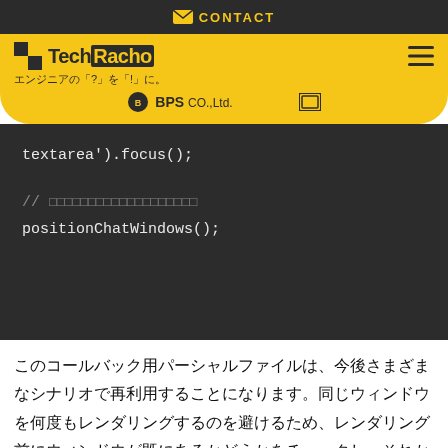CONTACT
[Figure (screenshot): TechRacho website header with yellow brand bar showing TechRacho logo, tagline 'エンジニアの「?」を「!」に。', BPS Co., Ltd. logo, and hamburger menu]
[Figure (screenshot): Dark code block showing: textarea').focus(); and // [Japanese comment boxes] positionChatWindows();]
このコールバック用パーシャルファイルは、今後さまざまなシナリオで再利用することになります。同じウィンドウを何度もレンダリングするのを避けるため、レンダリング前にウィンドウが既にあるかどうかをチェックし、それからウィンドウを拡大してメッセージフォームに自動的にフォーカスを移動します。ファイル末尾にある positionChatWindows() 関数は、チャットウィンドウの位置がす